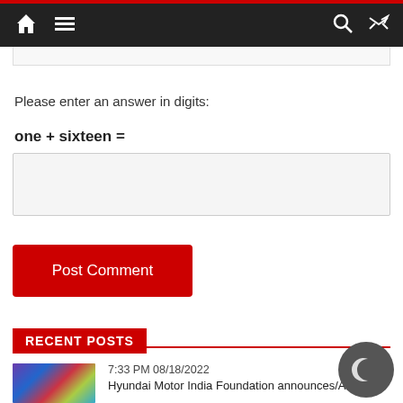Navigation bar with home icon, menu icon, search icon, shuffle icon
Please enter an answer in digits:
one + sixteen =
[Figure (screenshot): Empty text input box for captcha answer]
[Figure (screenshot): Post Comment button - red rectangle button]
RECENT POSTS
7:33 PM 08/18/2022
Hyundai Motor India Foundation announces/Art